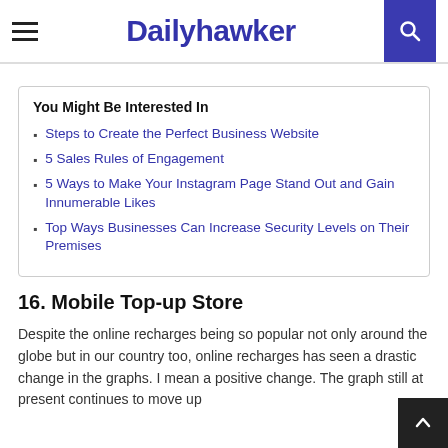Dailyhawker
You Might Be Interested In
Steps to Create the Perfect Business Website
5 Sales Rules of Engagement
5 Ways to Make Your Instagram Page Stand Out and Gain Innumerable Likes
Top Ways Businesses Can Increase Security Levels on Their Premises
16. Mobile Top-up Store
Despite the online recharges being so popular not only around the globe but in our country too, online recharges has seen a drastic change in the graphs. I mean a positive change. The graph still at present continues to move up